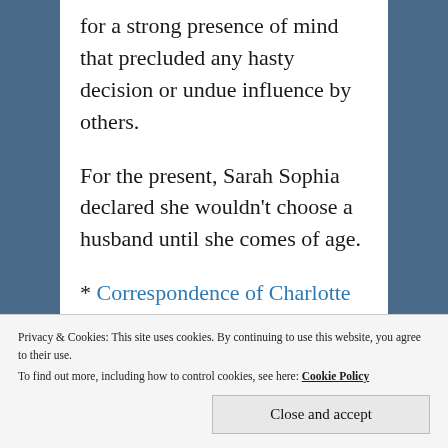for a strong presence of mind that precluded any hasty decision or undue influence by others.
For the present, Sarah Sophia declared she wouldn't choose a husband until she comes of age.
* Correspondence of Charlotte Grenville, Lady Williams Wynn and
Privacy & Cookies: This site uses cookies. By continuing to use this website, you agree to their use. To find out more, including how to control cookies, see here: Cookie Policy